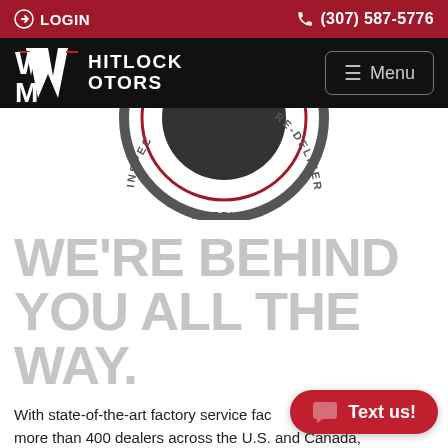LOGIN   (307) 587-5776
[Figure (logo): Whitlock Motors logo — stylized WM letters in white on black background, with WHITLOCK MOTORS text beside it]
[Figure (other): Partial circular seal/badge with text RE-DELIVERY and INSPEC visible, dark ring on white background, cropped at top]
WE'RE BEHIND YOU ALL THE WAY.
With state-of-the-art factory service fac... more than 400 dealers across the U.S. and Canada,